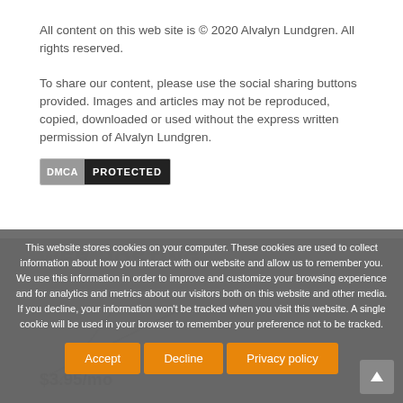All content on this web site is © 2020 Alvalyn Lundgren. All rights reserved.
To share our content, please use the social sharing buttons provided. Images and articles may not be reproduced, copied, downloaded or used without the express written permission of Alvalyn Lundgren.
[Figure (logo): DMCA Protected badge with gray left panel showing 'DMCA' and black right panel showing 'PROTECTED']
[Figure (infographic): Gray background section showing web hosting advertisement with 'WEB HOSTING' title and '$3.95/mo' price]
This website stores cookies on your computer. These cookies are used to collect information about how you interact with our website and allow us to remember you. We use this information in order to improve and customize your browsing experience and for analytics and metrics about our visitors both on this website and other media. If you decline, your information won't be tracked when you visit this website. A single cookie will be used in your browser to remember your preference not to be tracked.
Accept   Decline   Privacy policy